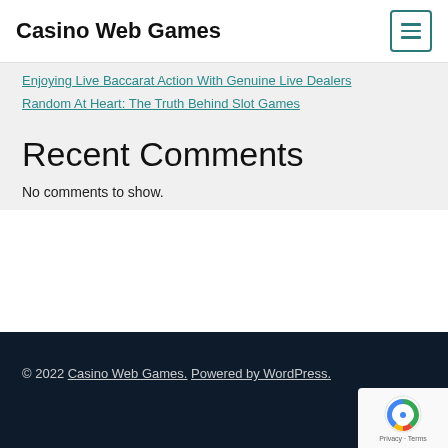Casino Web Games
Enjoying Live Baccarat Action With Genuine Live Dealers
Random At Heart: The Truth Behind Slot Games
Recent Comments
No comments to show.
© 2022 Casino Web Games. Powered by WordPress.